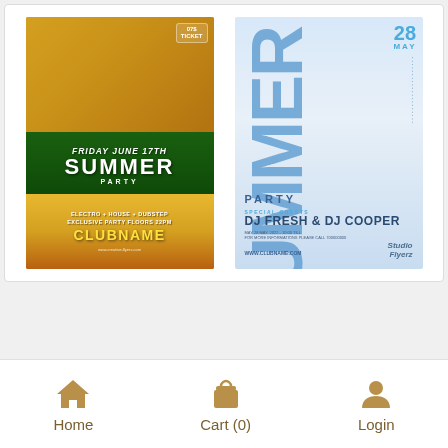[Figure (illustration): Summer Party yellow/green flyer — Friday June 17th, SUMMER PARTY, CLUBNAME, www.creative-flyers.com]
[Figure (illustration): Summer Party blue/white flyer — 28 May, SUMMER PARTY, Special Guests DJ Fresh & DJ Cooper, www.clubname.com]
Home   Cart (0)   Login